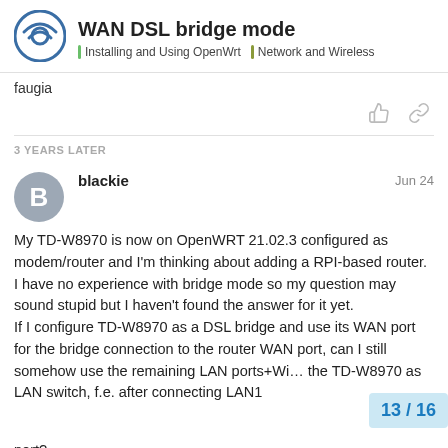WAN DSL bridge mode | Installing and Using OpenWrt | Network and Wireless
faugia
3 YEARS LATER
blackie  Jun 24
My TD-W8970 is now on OpenWRT 21.02.3 configured as modem/router and I'm thinking about adding a RPI-based router.
I have no experience with bridge mode so my question may sound stupid but I haven't found the answer for it yet.
If I configure TD-W8970 as a DSL bridge and use its WAN port for the bridge connection to the router WAN port, can I still somehow use the remaining LAN ports+Wi... the TD-W8970 as LAN switch, f.e. after connecting LAN1 port?